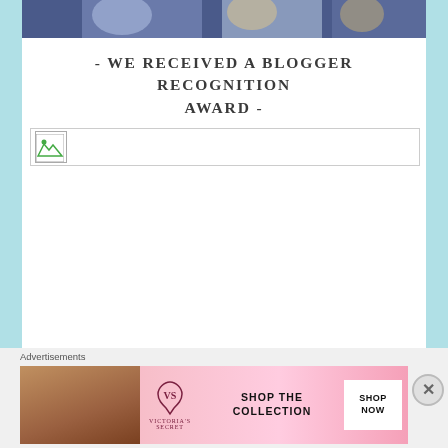[Figure (photo): Partial top photo showing people, cropped at the top of the page]
- WE RECEIVED A BLOGGER RECOGNITION AWARD -
[Figure (photo): Broken image placeholder with small icon and horizontal line]
Advertisements
[Figure (photo): Victoria's Secret advertisement banner: model on left, VS logo, SHOP THE COLLECTION text, SHOP NOW button on right]